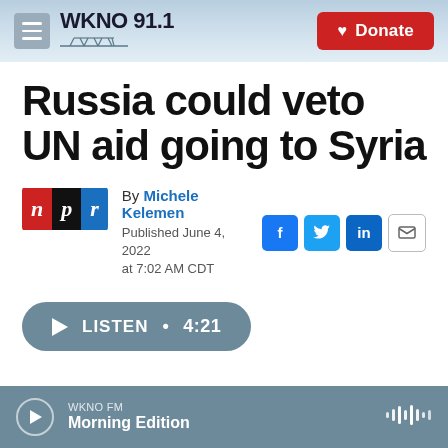WKNO 91.1 | Donate
Russia could veto UN aid going to Syria
By Michele Kelemen
Published June 4, 2022 at 7:02 AM CDT
LISTEN • 4:21
WKNO FM
Morning Edition